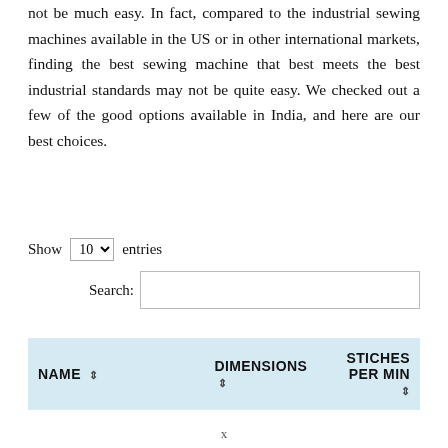not be much easy. In fact, compared to the industrial sewing machines available in the US or in other international markets, finding the best sewing machine that best meets the best industrial standards may not be quite easy. We checked out a few of the good options available in India, and here are our best choices.
Show 10 entries
Search:
| NAME ⇕ | DIMENSIONS ⇕ | STICHES PER MIN ⇕ |
| --- | --- | --- |
x